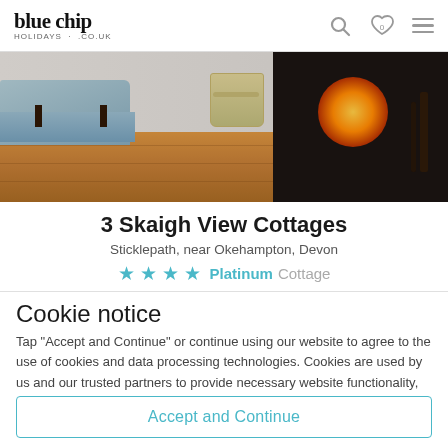blue chip holidays .co.uk
[Figure (photo): Interior photo showing hardwood floor, grey sofa, wicker basket, and black fireplace with fire burning]
3 Skaigh View Cottages
Sticklepath, near Okehampton, Devon
★★★★ Platinum Cottage
Cookie notice
Tap "Accept and Continue" or continue using our website to agree to the use of cookies and data processing technologies. Cookies are used by us and our trusted partners to provide necessary website functionality, analyse, personalise and enhance your experience on this website as well as to deliver tailored holiday-related ads on other websites.
Accept and Continue